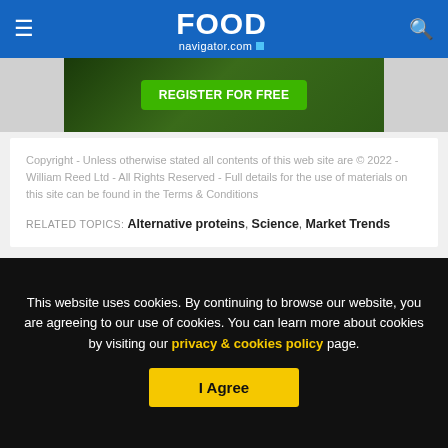FOOD navigator.com
[Figure (photo): Green banner with 'Register for free' button on dark green background]
Copyright - Unless otherwise stated all contents of this web site are © 2022 - William Reed Ltd - All Rights Reserved - Full details for the use of materials on this site can be found in the Terms & Conditions
RELATED TOPICS: Alternative proteins, Science, Market Trends
This website uses cookies. By continuing to browse our website, you are agreeing to our use of cookies. You can learn more about cookies by visiting our privacy & cookies policy page.
I Agree